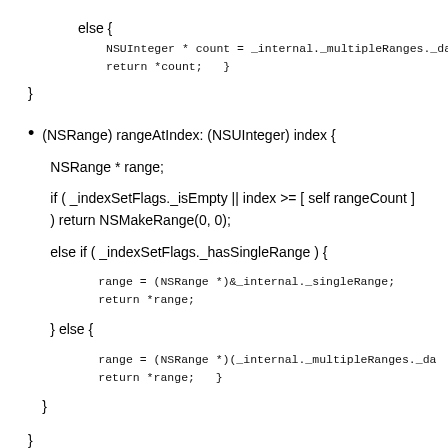else {
    NSUInteger * count = _internal._multipleRanges._da
    return *count;  }
}
(NSRange) rangeAtIndex: (NSUInteger) index {

NSRange * range;

if ( _indexSetFlags._isEmpty || index >= [ self rangeCount ]
) return NSMakeRange(0, 0);

else if ( _indexSetFlags._hasSingleRange ) {

    range = (NSRange *)&_internal._singleRange;
    return *range;

} else {

    range = (NSRange *)(_internal._multipleRanges._da
    return *range;  }

}
}
@end